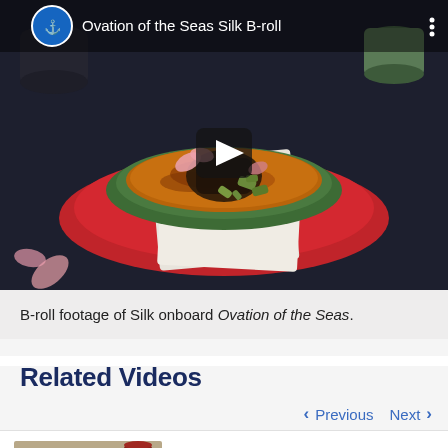[Figure (screenshot): Video player thumbnail showing a top-down view of a food bowl (crème brûlée style dessert with toppings) on a dark background, with Royal Caribbean logo and title 'Ovation of the Seas Silk B-roll' in the top bar, and a play button overlay in the center.]
B-roll footage of Silk onboard Ovation of the Seas.
Related Videos
Previous  Next
Introducing The Mason Jar: Royal Caribbean